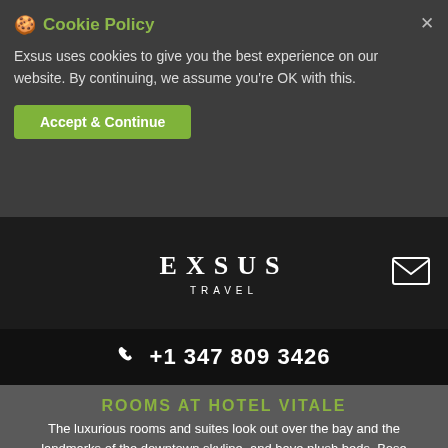🍪 Cookie Policy
Exsus uses cookies to give you the best experience on our website. By continuing, we assume you're OK with this.
Accept & Continue
EXSUS TRAVEL
+1 347 809 3426
ROOMS AT HOTEL VITALE
The luxurious rooms and suites look out over the bay and the landmarks of the downtown skyline, and have plush beds, Bose music systems and limestone bathrooms with rainfall showers. Relax on your private terrace and take in the views.